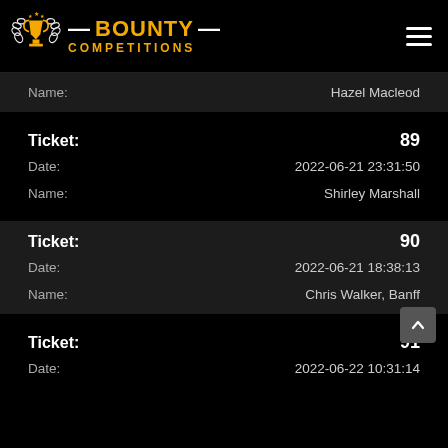Bounty Competitions
| Field | Value |
| --- | --- |
| Name: | Hazel Macleod |
| Ticket: | 89 |
| Date: | 2022-06-21 23:31:50 |
| Name: | Shirley Marshall |
| Ticket: | 90 |
| Date: | 2022-06-21 18:38:13 |
| Name: | Chris Walker, Banff |
| Ticket: | 91 |
| Date: | 2022-06-22 10:31:14 |